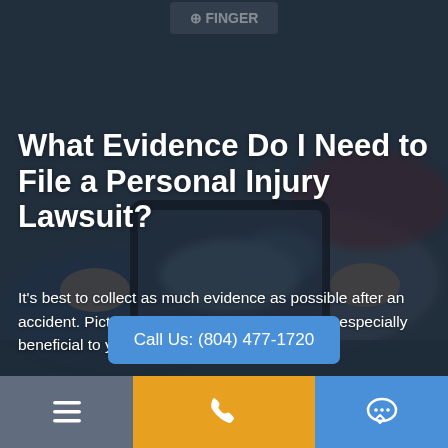[Figure (photo): Background photo of a person holding a smartphone photographing a car accident scene, with damaged vehicles visible. Dark overlay applied for text readability. Law firm logo partially visible at top center.]
What Evidence Do I Need to File a Personal Injury Lawsuit?
It's best to collect as much evidence as possible after an accident. Pictures and medical records can be especially beneficial to your case.
Call Us: (804) 477-1720
Navigation bar with hamburger menu, phone call button (orange), and chat button (blue)